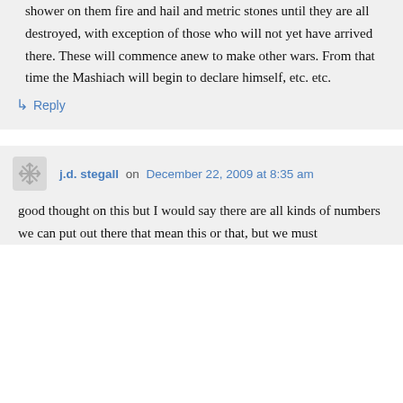shower on them fire and hail and metric stones until they are all destroyed, with exception of those who will not yet have arrived there. These will commence anew to make other wars. From that time the Mashiach will begin to declare himself, etc. etc.
↳ Reply
j.d. stegall on December 22, 2009 at 8:35 am
good thought on this but I would say there are all kinds of numbers we can put out there that mean this or that, but we must